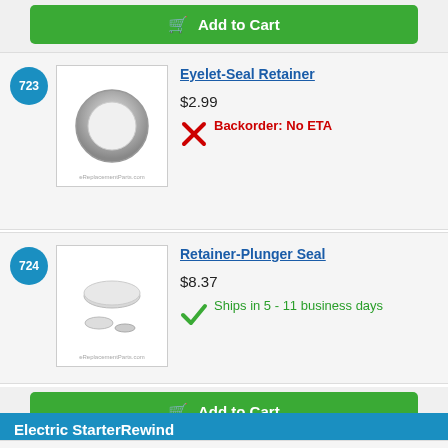[Figure (other): Green 'Add to Cart' button at top with shopping cart icon]
[Figure (photo): Product image of Eyelet-Seal Retainer - a metallic ring/eyelet]
723
Eyelet-Seal Retainer
$2.99
Backorder: No ETA
[Figure (photo): Product image of Retainer-Plunger Seal - small plastic parts]
724
Retainer-Plunger Seal
$8.37
Ships in 5 - 11 business days
[Figure (other): Green 'Add to Cart' button at bottom with shopping cart icon]
Electric StarterRewind